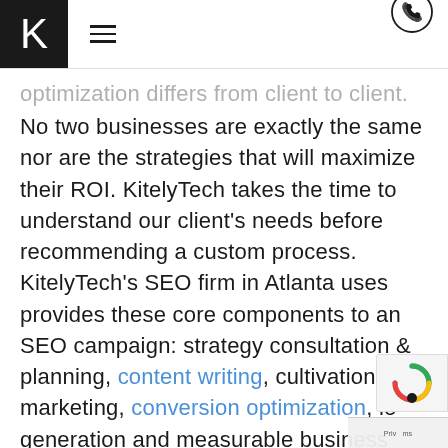K [hamburger menu] [phone icon]
optimization differs from client to client. No two businesses are exactly the same nor are the strategies that will maximize their ROI. KitelyTech takes the time to understand our client's needs before recommending a custom process. KitelyTech's SEO firm in Atlanta uses provides these core components to an SEO campaign: strategy consultation & planning, content writing, cultivation & marketing, conversion optimization, lead generation and measurable business growth. Our communication will be